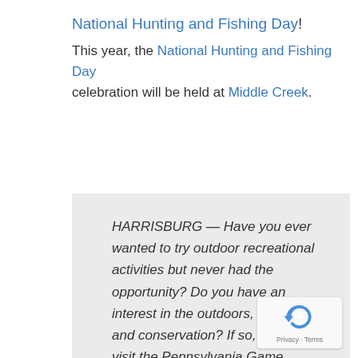National Hunting and Fishing Day!
This year, the National Hunting and Fishing Day celebration will be held at Middle Creek.
HARRISBURG — Have you ever wanted to try outdoor recreational activities but never had the opportunity? Do you have an interest in the outdoors, wildlife, and conservation? If so, plan to visit the Pennsylvania Game Commission's Middle Creek Wildlife Management Area from 9 a.m. to 5 p.m. on Sunday, Sept. 25, to help celebrate National Hunting and Fishing Day.